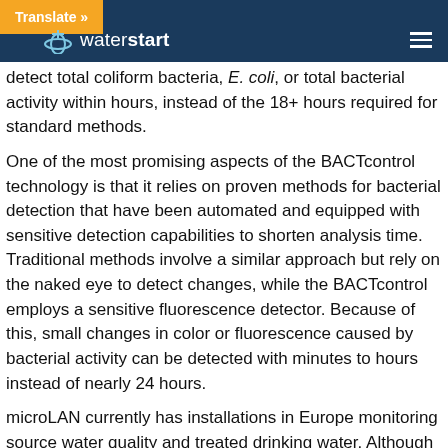Translate » waterstart
detect total coliform bacteria, E. coli, or total bacterial activity within hours, instead of the 18+ hours required for standard methods.
One of the most promising aspects of the BACTcontrol technology is that it relies on proven methods for bacterial detection that have been automated and equipped with sensitive detection capabilities to shorten analysis time. Traditional methods involve a similar approach but rely on the naked eye to detect changes, while the BACTcontrol employs a sensitive fluorescence detector. Because of this, small changes in color or fluorescence caused by bacterial activity can be detected with minutes to hours instead of nearly 24 hours.
microLAN currently has installations in Europe monitoring source water quality and treated drinking water. Although the